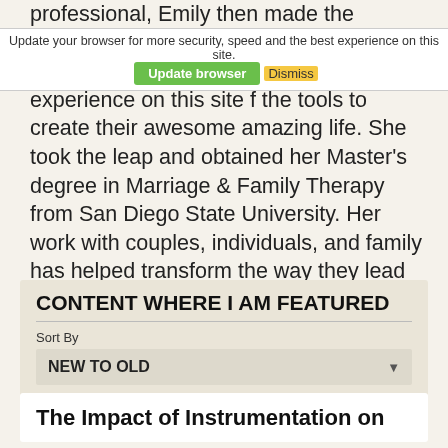professional, Emily then made the decision to put only help those affected by claudia, but and and all it the best experience on this site f the tools to create their awesome amazing life. She took the leap and obtained her Master's degree in Marriage & Family Therapy from San Diego State University. Her work with couples, individuals, and family has helped transform the way they lead their day-to-day lives.
CONTENT WHERE I AM FEATURED
Sort By
NEW TO OLD
RESET
The Impact of Instrumentation on